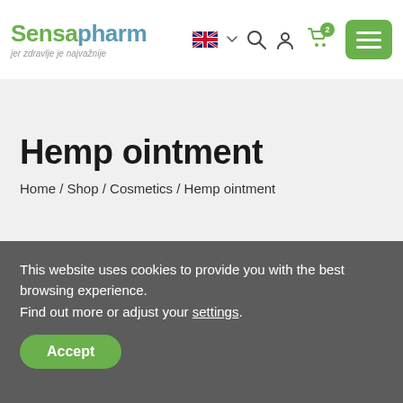Sensapharm — jer zdravlje je najvažnije
Hemp ointment
Home / Shop / Cosmetics / Hemp ointment
This website uses cookies to provide you with the best browsing experience. Find out more or adjust your settings.